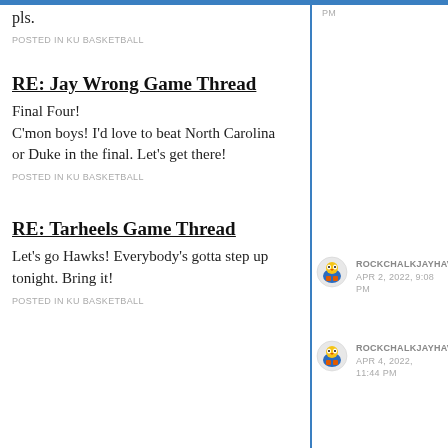pls.
POSTED IN KU BASKETBALL
RE: Jay Wrong Game Thread
Final Four!
C'mon boys! I'd love to beat North Carolina or Duke in the final. Let's get there!
POSTED IN KU BASKETBALL
ROCKCHALKJAYHAW
APR 2, 2022, 9:08 PM
RE: Tarheels Game Thread
Let's go Hawks! Everybody's gotta step up tonight. Bring it!
POSTED IN KU BASKETBALL
ROCKCHALKJAYHAW
APR 4, 2022, 11:44 PM